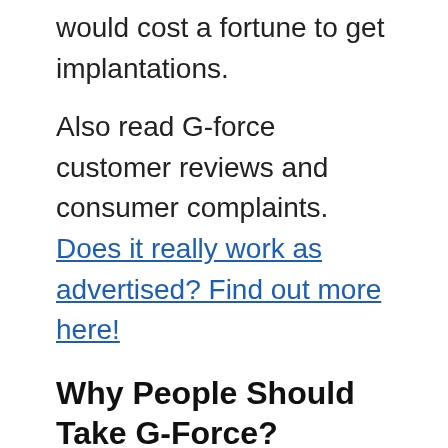would cost a fortune to get implantations.
Also read G-force customer reviews and consumer complaints. Does it really work as advertised? Find out more here!
Why People Should Take G-Force?
There may be many products similar to G-Force available on the market